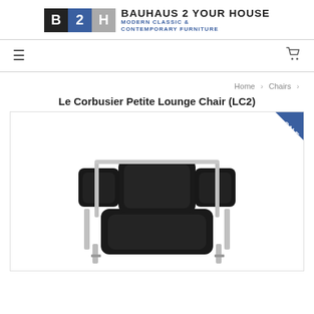[Figure (logo): Bauhaus 2 Your House logo: three colored squares with letters B (black), 2 (blue), H (gray), followed by text BAUHAUS 2 YOUR HOUSE and MODERN CLASSIC & CONTEMPORARY FURNITURE]
☰   🛒
Home › Chairs ›
Le Corbusier Petite Lounge Chair (LC2)
[Figure (photo): Black leather Le Corbusier LC2 Petite Lounge Chair viewed from above/front, showing cushioned seat, back, and armrests with chrome tubular steel frame. A blue SALE banner is shown in the top right corner of the image.]